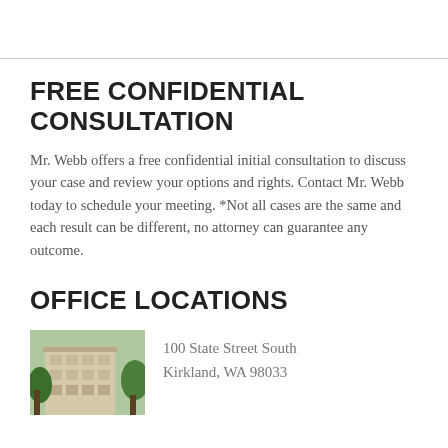FREE CONFIDENTIAL CONSULTATION
Mr. Webb offers a free confidential initial consultation to discuss your case and review your options and rights. Contact Mr. Webb today to schedule your meeting. *Not all cases are the same and each result can be different, no attorney can guarantee any outcome.
OFFICE LOCATIONS
[Figure (photo): Exterior photo of a multi-story office building]
100 State Street South
Kirkland, WA 98033